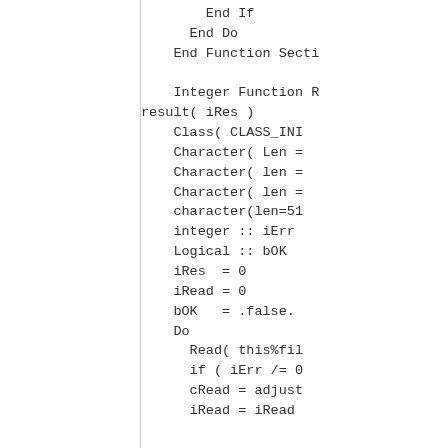End If
    End Do
  End Function Secti

  Integer Function R
result( iRes )
    Class( CLASS_INI
    Character( Len =
    Character( len =
    Character( len =
    character(len=51
    integer :: iErr
    Logical :: bOK
    iRes  = 0
    iRead = 0
    bOK   = .false.
    Do
      Read( this%fil
      if ( iErr /= 0
      cRead = adjust
      iRead = iRead